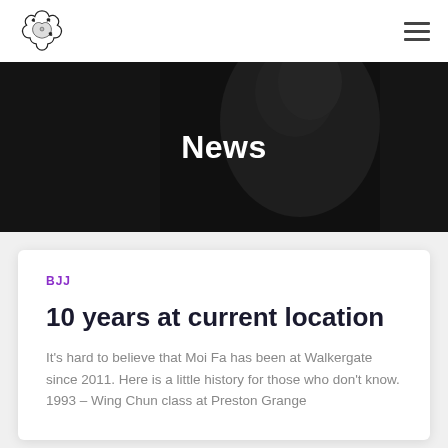Moi Fa martial arts logo and navigation
News
BJJ
10 years at current location
It's hard to believe that Moi Fa has been at Walkergate since 2011. Here is a little history for those who don't know. 1993 – Wing Chun class at Preston Grange